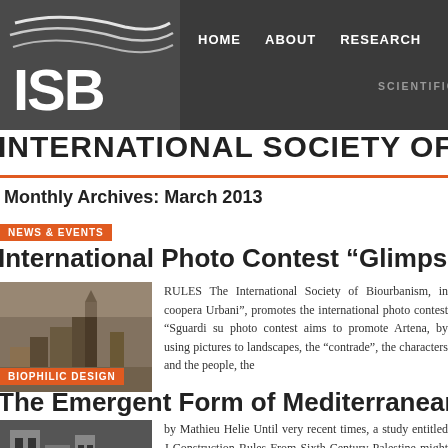[Figure (logo): ISB logo with white curved lines and text on dark grey background]
HOME    ABOUT    RESEARCH
SCIENTIFIC NETWORK FOR
INTERNATIONAL SOCIETY OF BIO
Monthly Archives: March 2013
NEWS & EVENTS
International Photo Contest “Glimpses o
[Figure (photo): Sepia-toned historic photo of a hilltop town with a church]
RULES The International Society of Biourbanism, in coopera Urbani”, promotes the international photo contest “Sguardi su photo contest aims to promote Artena, by using pictures to landscapes, the “contrade”, the characters and the people, the
BIOPHILIC DESIGN
The Emergent Form of Mediterranean To
[Figure (photo): Black and white photo of a Mediterranean town building]
by Mathieu Helie Until very recent times, a study entitled J Construction Rules From Sixth-Century Palestine might have